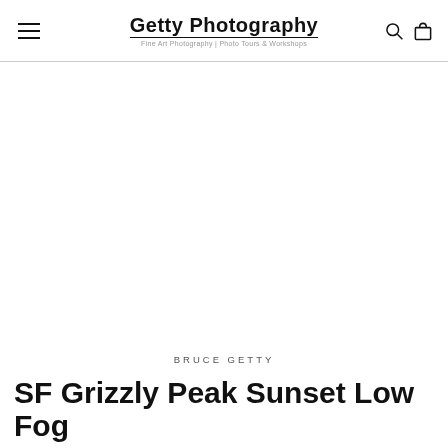Getty Photography
Fine Art Photography | Photo Tours & Workshops
[Figure (photo): Large white/blank photo placeholder area for SF Grizzly Peak Sunset Low Fog photograph]
BRUCE GETTY
SF Grizzly Peak Sunset Low Fog